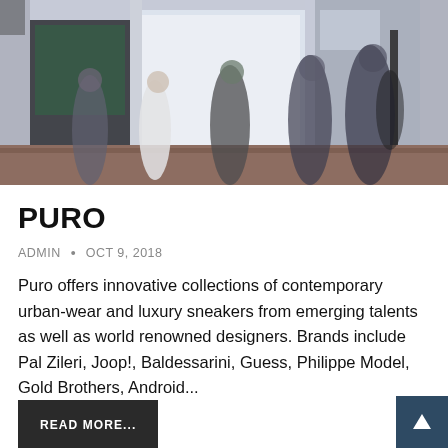[Figure (photo): Street scene outside a fashion retail store, pedestrians walking past shop fronts with large glass windows displaying clothing. Urban street setting.]
PURO
ADMIN • OCT 9, 2018
Puro offers innovative collections of contemporary urban-wear and luxury sneakers from emerging talents as well as world renowned designers. Brands include Pal Zileri, Joop!, Baldessarini, Guess, Philippe Model, Gold Brothers, Android...
READ MORE...